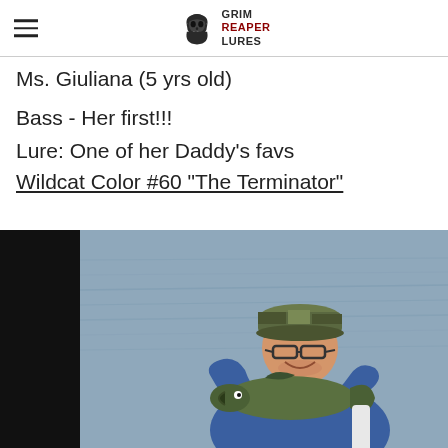Grim Reaper Lures
Ms. Giuliana (5 yrs old)
Bass - Her first!!!
Lure: One of her Daddy's favs
Wildcat Color #60 "The Terminator"
[Figure (photo): Man wearing a camo cap and glasses, smiling, holding a large bass fish on a boat on the water.]